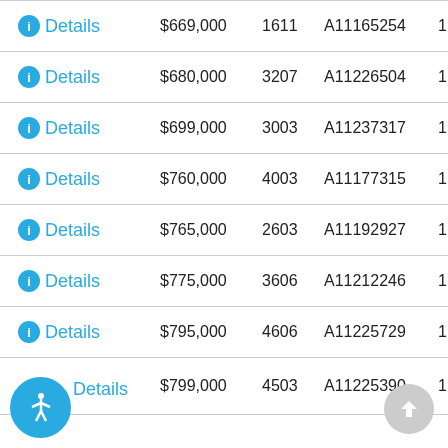|  | Price | Num | ID | Ratio |  |
| --- | --- | --- | --- | --- | --- |
| Details | $669,000 | 1611 | A11165254 | 1 / 1 | 81… |
| Details | $680,000 | 3207 | A11226504 | 1 / 1 | 98… |
| Details | $699,000 | 3003 | A11237317 | 1 / 1 | 79… |
| Details | $760,000 | 4003 | A11177315 | 1 / 1 | 79… |
| Details | $765,000 | 2603 | A11192927 | 1 / 1 | 79… |
| Details | $775,000 | 3606 | A11212246 | 1 / 1 | 84… |
| Details | $795,000 | 4606 | A11225729 | 1 / 1 | 84… |
| Details | $799,000 | 4503 | A11225390 | 1 / 1 | … |